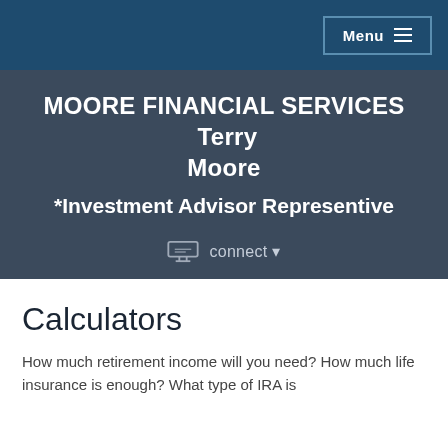Menu
MOORE FINANCIAL SERVICES  Terry Moore
*Investment Advisor Representive
connect
Calculators
How much retirement income will you need? How much life insurance is enough? What type of IRA is